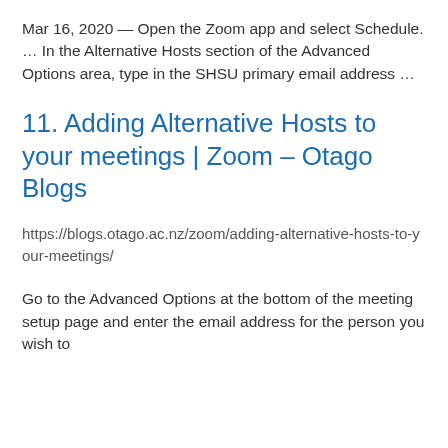Mar 16, 2020 — Open the Zoom app and select Schedule. … In the Alternative Hosts section of the Advanced Options area, type in the SHSU primary email address …
11. Adding Alternative Hosts to your meetings | Zoom – Otago Blogs
https://blogs.otago.ac.nz/zoom/adding-alternative-hosts-to-your-meetings/
Go to the Advanced Options at the bottom of the meeting setup page and enter the email address for the person you wish to